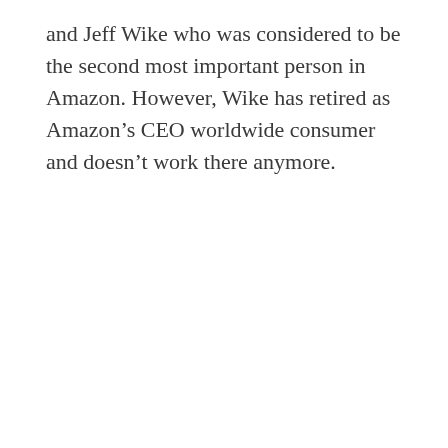and Jeff Wike who was considered to be the second most important person in Amazon. However, Wike has retired as Amazon's CEO worldwide consumer and doesn't work there anymore.